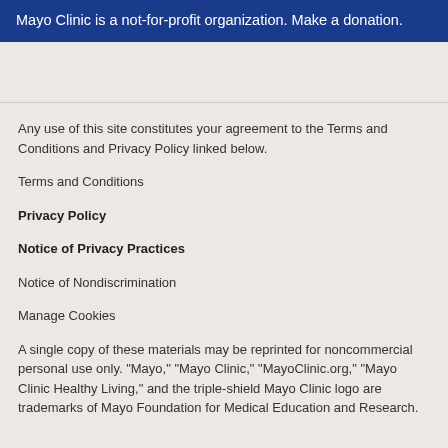Mayo Clinic is a not-for-profit organization. Make a donation.
Any use of this site constitutes your agreement to the Terms and Conditions and Privacy Policy linked below.
Terms and Conditions
Privacy Policy
Notice of Privacy Practices
Notice of Nondiscrimination
Manage Cookies
A single copy of these materials may be reprinted for noncommercial personal use only. "Mayo," "Mayo Clinic," "MayoClinic.org," "Mayo Clinic Healthy Living," and the triple-shield Mayo Clinic logo are trademarks of Mayo Foundation for Medical Education and Research.